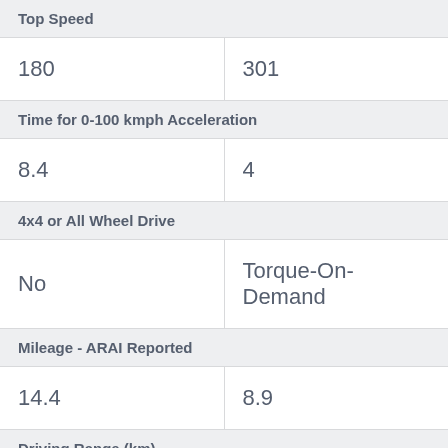| Top Speed |  |
| 180 | 301 |
| Time for 0-100 kmph Acceleration |  |
| 8.4 | 4 |
| 4x4 or All Wheel Drive |  |
| No | Torque-On-Demand |
| Mileage - ARAI Reported |  |
| 14.4 | 8.9 |
| Driving Range (km) |  |
| 782 | 694 |
| Engine |  |